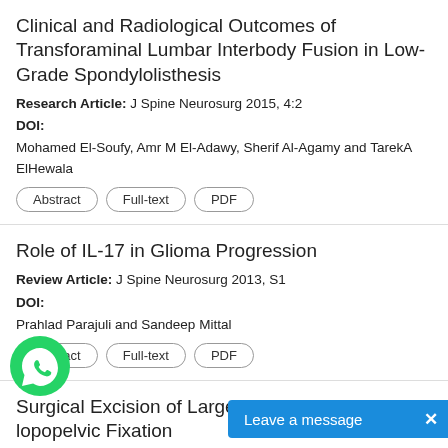Clinical and Radiological Outcomes of Transforaminal Lumbar Interbody Fusion in Low-Grade Spondylolisthesis
Research Article: J Spine Neurosurg 2015, 4:2
DOI:
Mohamed El-Soufy, Amr M El-Adawy, Sherif Al-Agamy and TarekA ElHewala
Role of IL-17 in Glioma Progression
Review Article: J Spine Neurosurg 2013, S1
DOI:
Prahlad Parajuli and Sandeep Mittal
Surgical Excision of Large Sacral Chordoma with lopopelvic Fixation
Case Report: J Spine Neurosurg 2018, 7:4
DOI: 10.4172/2325-9701.1000308
Ramadan Shamseldien